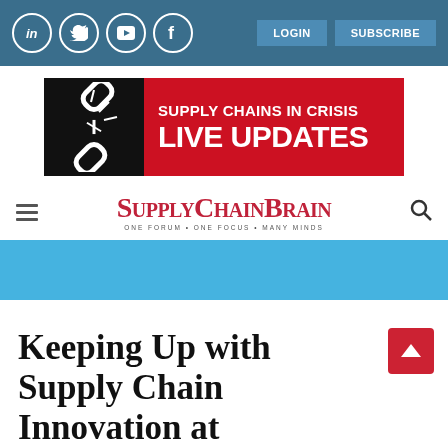Social icons: LinkedIn, Twitter, YouTube, Facebook | LOGIN | SUBSCRIBE
[Figure (screenshot): Supply Chains in Crisis Live Updates banner with broken chain icon on black background and red text area]
[Figure (logo): SupplyChainBrain logo with tagline ONE FORUM • ONE FOCUS • MANY MINDS, hamburger menu icon on left, search icon on right]
[Figure (infographic): Light blue horizontal stripe banner]
Keeping Up with Supply Chain Innovation at